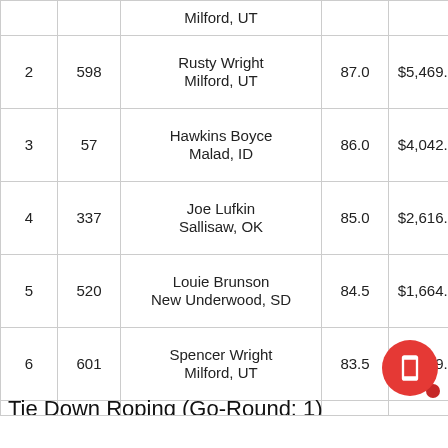| Rank | # | Name / Hometown | Score | Earnings |
| --- | --- | --- | --- | --- |
|  |  | Milford, UT |  |  |
| 2 | 598 | Rusty Wright
Milford, UT | 87.0 | $5,469.86 |
| 3 | 57 | Hawkins Boyce
Malad, ID | 86.0 | $4,042.94 |
| 4 | 337 | Joe Lufkin
Sallisaw, OK | 85.0 | $2,616.02 |
| 5 | 520 | Louie Brunson
New Underwood, SD | 84.5 | $1,664.74 |
| 6 | 601 | Spencer Wright
Milford, UT | 83.5 | $1,189.10 |
| 7 | 47 | Jake Blackwell
Rapid City, SD | 83.0 | $832.37 |
| 7 | 200 | Leon Fountain
Socorro, NM | 83.0 | $832.37 |
Tie Down Roping (Go-Round: 1)